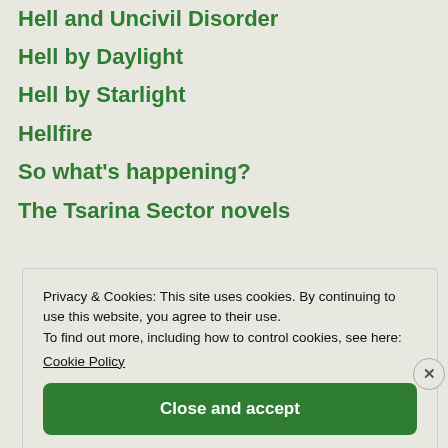Hell and Uncivil Disorder
Hell by Daylight
Hell by Starlight
Hellfire
So what's happening?
The Tsarina Sector novels
Privacy & Cookies: This site uses cookies. By continuing to use this website, you agree to their use. To find out more, including how to control cookies, see here: Cookie Policy
Close and accept